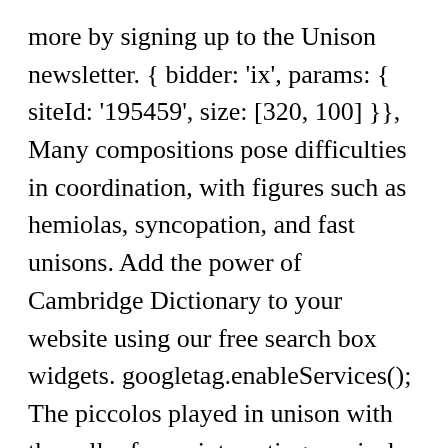more by signing up to the Unison newsletter. { bidder: 'ix', params: { siteId: '195459', size: [320, 100] }}, Many compositions pose difficulties in coordination, with figures such as hemiolas, syncopation, and fast unisons. Add the power of Cambridge Dictionary to your website using our free search box widgets. googletag.enableServices(); The piccolos played in unison with the cello, for an interesting musical effect. {code: 'ad_contentslot_3', pubstack: { adUnitName: 'cdo_mpuslot', adUnitPath: '/2863368/mpuslot' }, mediaTypes: { banner: { sizes: [[300, 250], [336, 280]] } }, { bidder: 'triplelift', params: { inventoryCode: